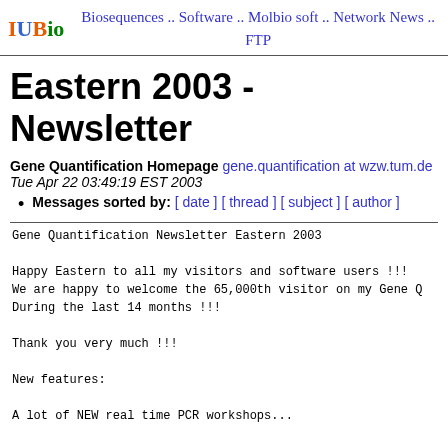IUBio | Biosequences .. Software .. Molbio soft .. Network News .. FTP
Eastern 2003 - Newsletter
Gene Quantification Homepage gene.quantification at wzw.tum.de
Tue Apr 22 03:49:19 EST 2003
Messages sorted by: [ date ] [ thread ] [ subject ] [ author ]
Gene Quantification Newsletter  Eastern 2003

Happy Eastern to all my visitors and software users !!!
We are happy to welcome the 65,000th visitor on my Gene Q
During the last 14 months !!!

Thank you very much !!!

New features:

A lot of NEW real time PCR workshops...